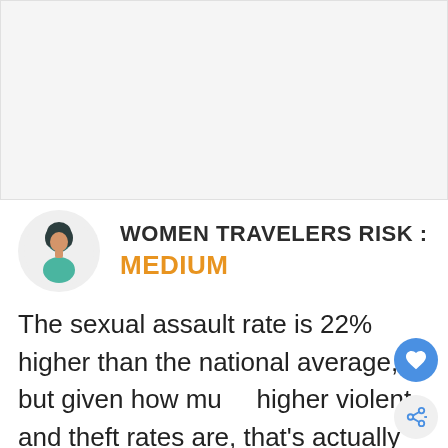[Figure (illustration): Empty light gray rectangular image area at top of page]
[Figure (illustration): Circular avatar icon showing a woman with dark hair wearing a teal top, on a light gray circle background]
WOMEN TRAVELERS RISK : MEDIUM
The sexual assault rate is 22% higher than the national average, but given how much higher violent and theft rates are, that's actually one of the lower crime rates here.